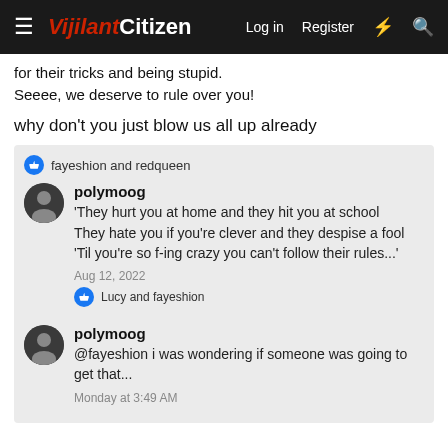VijilantCitizen — Log in  Register
for their tricks and being stupid.
Seeee, we deserve to rule over you!
why don't you just blow us all up already
👍 fayeshion and redqueen
polymoog
'They hurt you at home and they hit you at school
They hate you if you're clever and they despise a fool
'Til you're so f-ing crazy you can't follow their rules...'

Aug 12, 2022
👍 Lucy and fayeshion
polymoog
@fayeshion i was wondering if someone was going to get that...

Monday at 3:49 AM